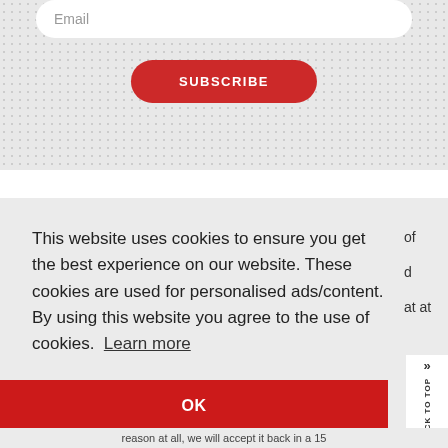[Figure (screenshot): Email subscription form with a rounded white input box showing placeholder text 'Email' and a red rounded 'SUBSCRIBE' button below it, on a light grey textured background.]
This website uses cookies to ensure you get the best experience on our website. These cookies are used for personalised ads/content. By using this website you agree to the use of cookies.  Learn more
OK
BACK TO TOP